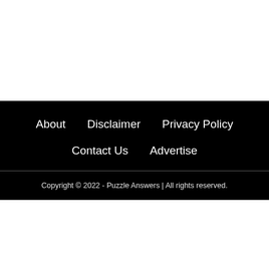About   Disclaimer   Privacy Policy   Contact Us   Advertise
Copyright © 2022 - Puzzle Answers | All rights reserved.